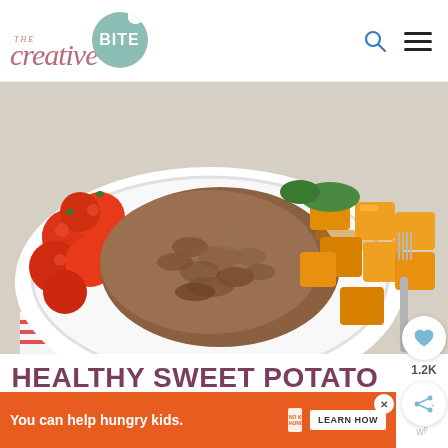THE creative BITE
[Figure (photo): A white bowl filled with ground meat, roasted sweet potato cubes, and cherry tomatoes, with a fork on the side on a red-striped cloth.]
HEALTHY SWEET POTATO
[Figure (other): Orange advertisement banner: 'You can help hungry kids. NO KID HUNGRY LEARN HOW' with close button.]